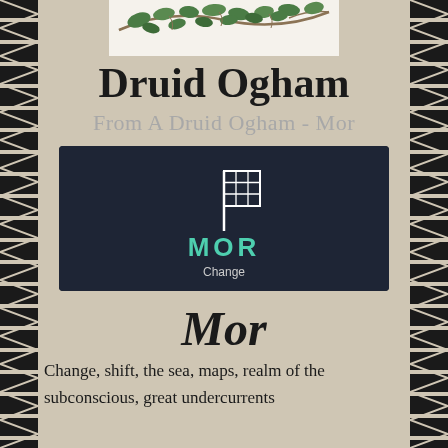[Figure (illustration): Decorative vine and leaf illustration at top of page, showing intertwined branches with green leaves]
Druid Ogham
From A Druid Ogham - Mor
[Figure (illustration): Dark navy card containing a white grid/flag ogham symbol above teal text reading 'MOR' and white text reading 'Change']
Mor
Change, shift, the sea, maps, realm of the subconscious, great undercurrents